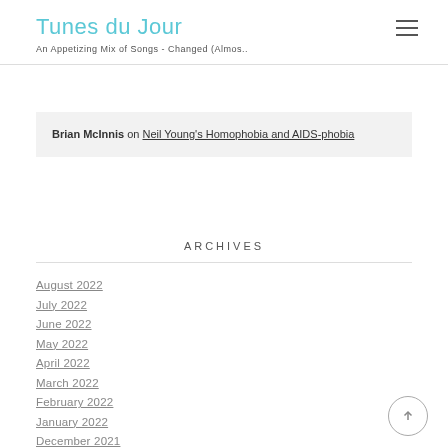Tunes du Jour
An Appetizing Mix of Songs - Changed (Almos..
Brian McInnis on Neil Young's Homophobia and AIDS-phobia
ARCHIVES
August 2022
July 2022
June 2022
May 2022
April 2022
March 2022
February 2022
January 2022
December 2021